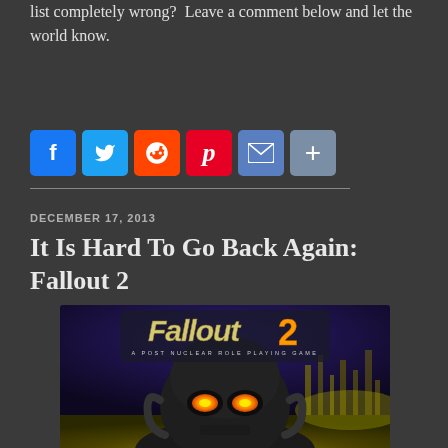list completely wrong? Leave a comment below and let the world know.
[Figure (infographic): Social sharing buttons: Facebook (blue), Twitter (blue), Reddit (orange), Pinterest (red), Email (blue-grey), More/Plus (grey)]
DECEMBER 17, 2013
It Is Hard To Go Back Again: Fallout 2
[Figure (photo): Fallout 2 game cover art featuring the Fallout 2 logo with a power-armored figure with glowing orange eyes against a yellow-green post-apocalyptic background]